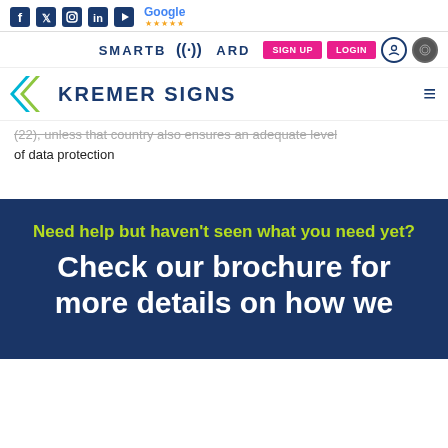Social icons: Facebook, Twitter, Instagram, LinkedIn, YouTube, Google (5 stars) | SMARTBOARD | SIGN UP | LOGIN
KREMER SIGNS (logo) | hamburger menu
(22), unless that country also ensures an adequate level of data protection
Need help but haven't seen what you need yet?
Check our brochure for more details on how we